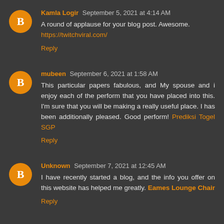Kamla Logir September 5, 2021 at 4:14 AM
A round of applause for your blog post. Awesome.
https://twitchviral.com/
Reply
mubeen September 6, 2021 at 1:58 AM
This particular papers fabulous, and My spouse and i enjoy each of the perform that you have placed into this. I'm sure that you will be making a really useful place. I has been additionally pleased. Good perform! Prediksi Togel SGP
Reply
Unknown September 7, 2021 at 12:45 AM
I have recently started a blog, and the info you offer on this website has helped me greatly. Eames Lounge Chair
Reply